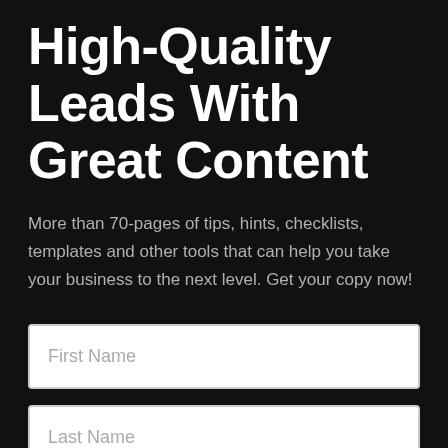High-Quality Leads With Great Content
More than 70-pages of tips, hints, checklists, templates and other tools that can help you take your business to the next level. Get your copy now!
[Figure (other): Form input field with placeholder text 'First Name']
[Figure (other): Form input field with placeholder text 'Last Name']